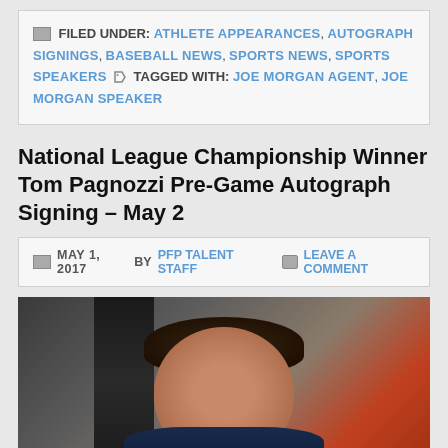FILED UNDER: ATHLETE APPEARANCES, AUTOGRAPH SIGNINGS, BASEBALL NEWS, SPORTS NEWS, SPORTS SPEAKERS  TAGGED WITH: JOE MORGAN AGENT, JOE MORGAN SPEAKER
National League Championship Winner Tom Pagnozzi Pre-Game Autograph Signing – May 2
MAY 1, 2017 BY PFP TALENT STAFF  LEAVE A COMMENT
[Figure (photo): Photo of Tom Pagnozzi, a middle-aged man with dark hair wearing a dark striped shirt, sitting in front of a reddish background]